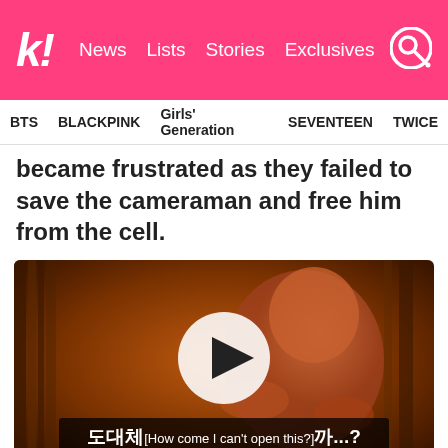k! News  Lists  Stories  Exclusives
BTS  BLACKPINK  Girls' Generation  SEVENTEEN  TWICE
became frustrated as they failed to save the cameraman and free him from the cell.
[Figure (screenshot): Video thumbnail showing a dark orange-tinted scene with Korean and English subtitles reading '도대체 [How come I can't open this?] 까...? Wait.' and a play button overlay.]
| BTS/ VLIVE